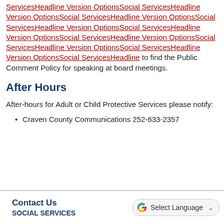ServicesHeadline Version OptionsSocial ServicesHeadline Version OptionsSocial ServicesHeadline Version OptionsSocial ServicesHeadline Version OptionsSocial ServicesHeadline Version OptionsSocial ServicesHeadline Version OptionsSocial ServicesHeadline Version OptionsSocial ServicesHeadline Version OptionsSocial ServicesHeadline to find the Public Comment Policy for speaking at board meetings.
After Hours
After-hours for Adult or Child Protective Services please notify:
Craven County Communications 252-633-2357
Contact Us   SOCIAL SERVICES   Select Language